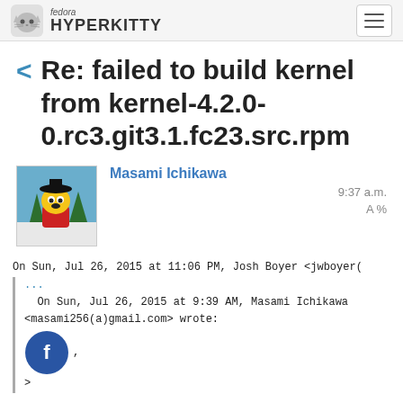fedora HYPERKITTY
Re: failed to build kernel from kernel-4.2.0-0.rc3.git3.1.fc23.src.rpm
Masami Ichikawa  9:37 a.m.  A %
On Sun, Jul 26, 2015 at 11:06 PM, Josh Boyer <jwboyer(
...
  On Sun, Jul 26, 2015 at 9:39 AM, Masami Ichikawa
<masami256(a)gmail.com&gt; wrote:
>